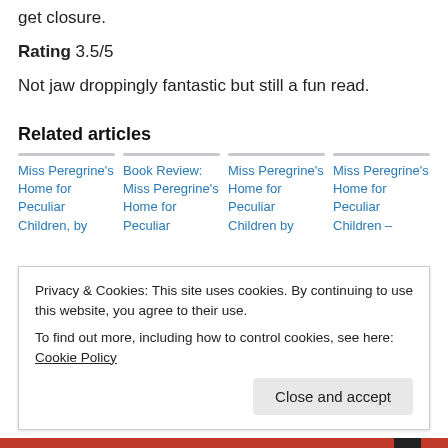get closure.
Rating 3.5/5
Not jaw droppingly fantastic but still a fun read.
Related articles
Miss Peregrine's Home for Peculiar Children, by
Book Review: Miss Peregrine's Home for Peculiar
Miss Peregrine's Home for Peculiar Children by
Miss Peregrine's Home for Peculiar Children –
Privacy & Cookies: This site uses cookies. By continuing to use this website, you agree to their use. To find out more, including how to control cookies, see here: Cookie Policy